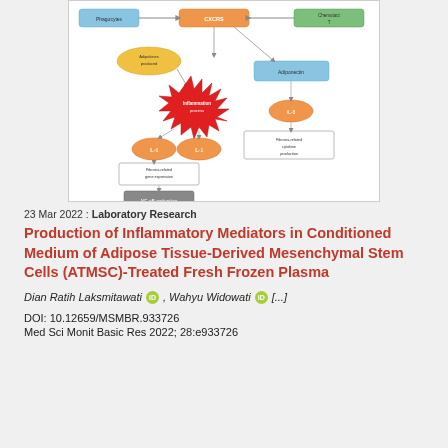[Figure (flowchart): Flowchart showing inflammatory mediator pathways: boxes and ovals with colored shapes (blue, orange, green, yellow, red starburst) connected by arrows, depicting signaling cascade involving cytokines and inflammatory mediators]
23 Mar 2022 : Laboratory Research
Production of Inflammatory Mediators in Conditioned Medium of Adipose Tissue-Derived Mesenchymal Stem Cells (ATMSC)-Treated Fresh Frozen Plasma
Dian Ratih Laksmitawati [ORCID], Wahyu Widowati [ORCID] [...]
DOI: 10.12659/MSMBR.933726
Med Sci Monit Basic Res 2022; 28:e933726